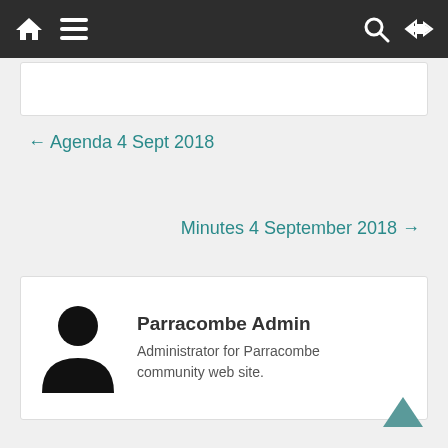[Figure (screenshot): Navigation bar with home icon, hamburger menu, search icon, and shuffle icon on dark background]
← Agenda 4 Sept 2018
Minutes 4 September 2018 →
Parracombe Admin
Administrator for Parracombe community web site.